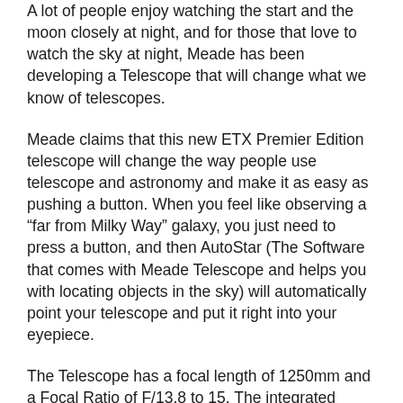A lot of people enjoy watching the start and the moon closely at night, and for those that love to watch the sky at night, Meade has been developing a Telescope that will change what we know of telescopes.
Meade claims that this new ETX Premier Edition telescope will change the way people use telescope and astronomy and make it as easy as pushing a button. When you feel like observing a “far from Milky Way” galaxy, you just need to press a button, and then AutoStar (The Software that comes with Meade Telescope and helps you with locating objects in the sky) will automatically point your telescope and put it right into your eyepiece.
The Telescope has a focal length of 1250mm and a Focal Ratio of F/13.8 to 15. The integrated sensor